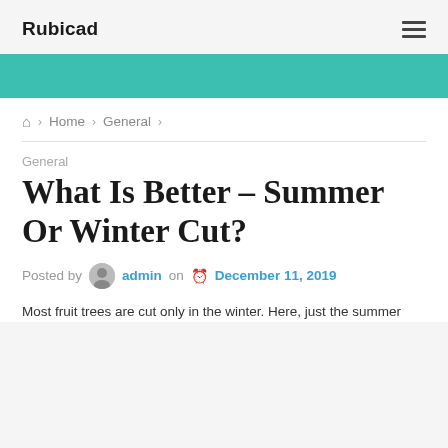Rubicad
Home › General ›
General
What Is Better – Summer Or Winter Cut?
Posted by admin on December 11, 2019
Most fruit trees are cut only in the winter. Here, just the summer